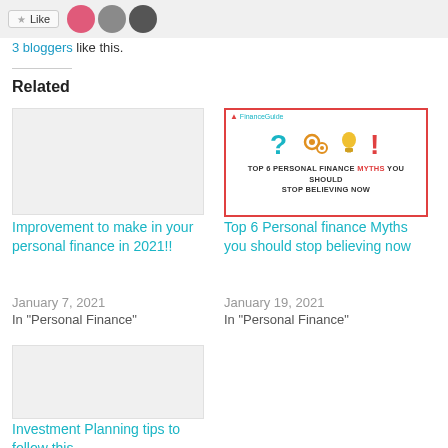3 bloggers like this.
Related
[Figure (screenshot): Blank placeholder image for 'Improvement to make in your personal finance in 2021!!' article thumbnail]
Improvement to make in your personal finance in 2021!!
January 7, 2021
In "Personal Finance"
[Figure (infographic): Top 6 Personal Finance Myths you should Stop Believing Now - infographic with question mark, gears, lightbulb and exclamation mark icons on white background with red border]
Top 6 Personal finance Myths you should stop believing now
January 19, 2021
In "Personal Finance"
[Figure (screenshot): Blank placeholder image for 'Investment Planning tips to follow this' article thumbnail]
Investment Planning tips to follow this